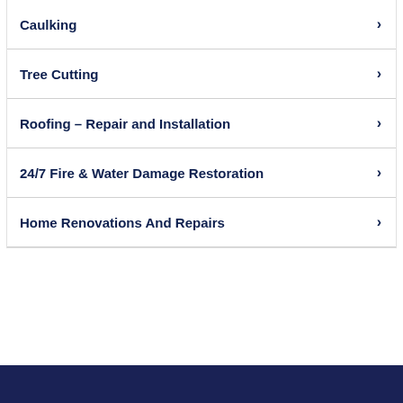Caulking
Tree Cutting
Roofing – Repair and Installation
24/7 Fire & Water Damage Restoration
Home Renovations And Repairs